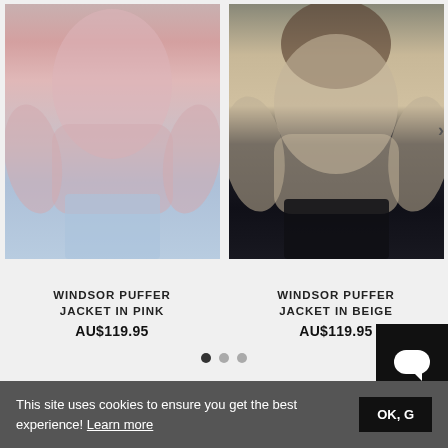[Figure (photo): Woman wearing pink puffer jacket with white top and light blue jeans]
[Figure (photo): Woman wearing beige puffer jacket with black top and black patent leather pants]
WINDSOR PUFFER JACKET IN PINK
AU$119.95
WINDSOR PUFFER JACKET IN BEIGE
AU$119.95
This site uses cookies to ensure you get the best experience! Learn more